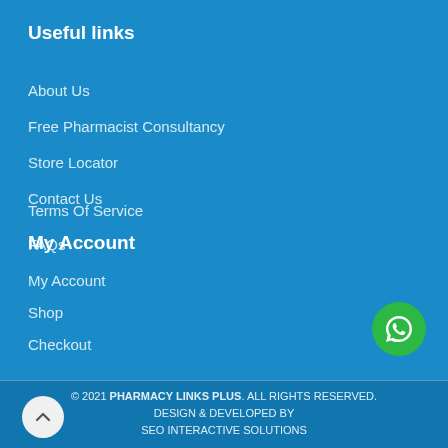Useful links
About Us
Free Pharmacist Consultancy
Store Locator
Contact Us
Terms Of Service
FAQs
My Account
My Account
Shop
Checkout
[Figure (logo): WhatsApp floating button icon (green circle with white phone handset)]
© 2021 PHARMACY LINKS PLUS. ALL RIGHTS RESERVED. DESIGN & DEVELOPED BY SEO INTERACTIVE SOLUTIONS